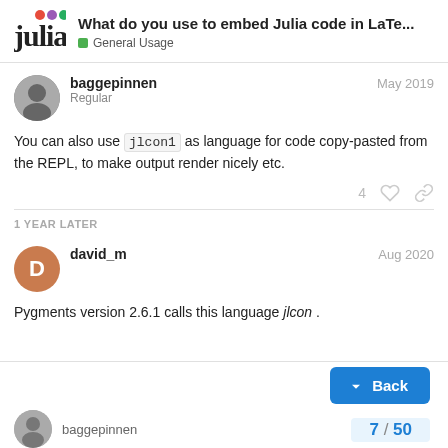What do you use to embed Julia code in LaTe... | General Usage
baggepinnen Regular May 2019
You can also use jlcon1 as language for code copy-pasted from the REPL, to make output render nicely etc.
1 YEAR LATER
david_m Aug 2020
Pygments version 2.6.1 calls this language jlcon .